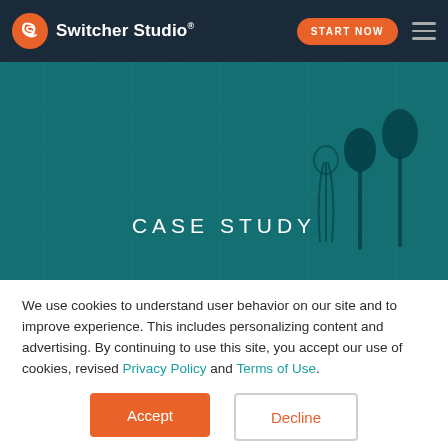Switcher Studio® — START NOW navigation bar
[Figure (screenshot): Switcher Studio website hero banner showing a teal-tinted photo of kitchen utensils (spoons, whisk) against a tile wall background, with text CASE STUDY centered.]
CASE STUDY
We use cookies to understand user behavior on our site and to improve experience. This includes personalizing content and advertising. By continuing to use this site, you accept our use of cookies, revised Privacy Policy and Terms of Use.
Accept
Decline